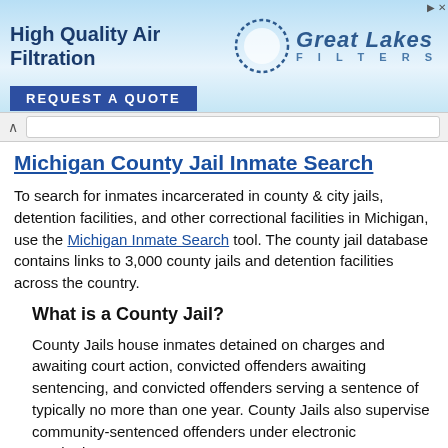[Figure (screenshot): Advertisement banner for Great Lakes Filters showing high quality air filtration with a blue sky background, circular logo, and 'REQUEST A QUOTE' button]
Michigan County Jail Inmate Search
To search for inmates incarcerated in county & city jails, detention facilities, and other correctional facilities in Michigan, use the Michigan Inmate Search tool. The county jail database contains links to 3,000 county jails and detention facilities across the country.
What is a County Jail?
County Jails house inmates detained on charges and awaiting court action, convicted offenders awaiting sentencing, and convicted offenders serving a sentence of typically no more than one year. County Jails also supervise community-sentenced offenders under electronic monitoring.